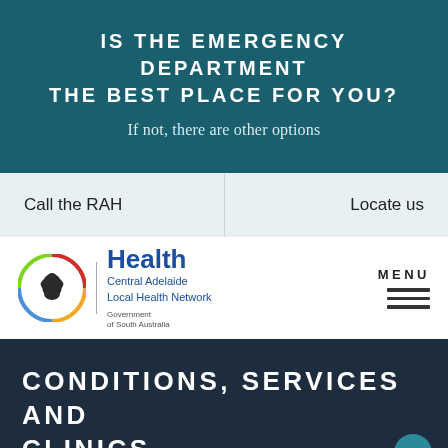IS THE EMERGENCY DEPARTMENT THE BEST PLACE FOR YOU?
If not, there are other options
Call the RAH
Locate us
[Figure (logo): Government of South Australia Health – Central Adelaide Local Health Network logo with circular emblem and text]
MENU
CONDITIONS, SERVICES AND CLINICS